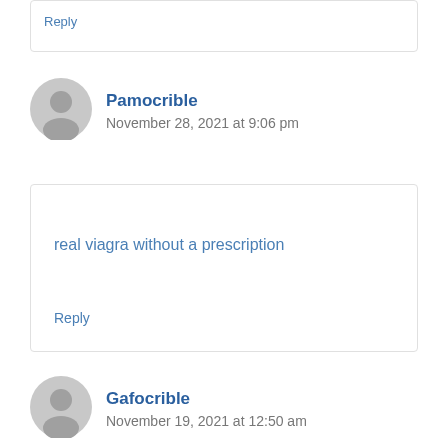Reply
Pamocrible
November 28, 2021 at 9:06 pm
real viagra without a prescription
Reply
Gafocrible
November 19, 2021 at 12:50 am